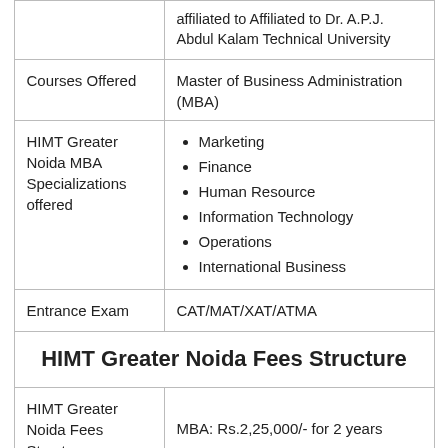|  | affiliated to Affiliated to Dr. A.P.J Abdul Kalam Technical University |
| Courses Offered | Master of Business Administration (MBA) |
| HIMT Greater Noida MBA Specializations offered | Marketing, Finance, Human Resource, Information Technology, Operations, International Business |
| Entrance Exam | CAT/MAT/XAT/ATMA |
| HIMT Greater Noida Fees Structure |  |
| HIMT Greater Noida Fees Structure | MBA: Rs.2,25,000/- for 2 years |
|  | The candidate must have passed three years of degree course from |